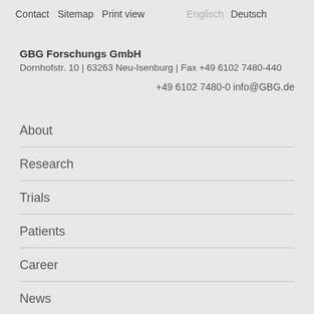Contact   Sitemap   Print view   Englisch   Deutsch
GBG Forschungs GmbH
Dornhofstr. 10 | 63263 Neu-Isenburg | Fax +49 6102 7480-440
+49 6102 7480-0 info@GBG.de
About
Research
Trials
Patients
Career
News